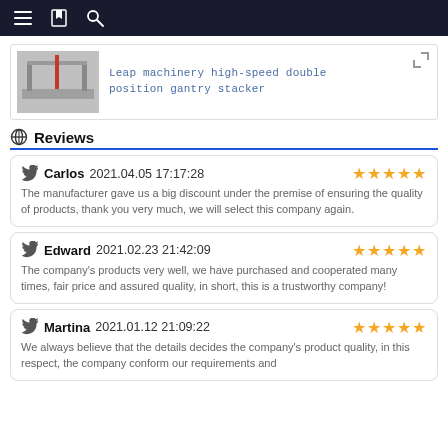Navigation bar with menu, bookmark, and search icons
[Figure (photo): Product image: Leap machinery high-speed double position gantry stacker thumbnail]
Leap machinery high-speed double position gantry stacker
Reviews
Carlos 2021.04.05 17:17:28 ★★★★★
The manufacturer gave us a big discount under the premise of ensuring the quality of products, thank you very much, we will select this company again.
Edward 2021.02.23 21:42:09 ★★★★★
The company's products very well, we have purchased and cooperated many times, fair price and assured quality, in short, this is a trustworthy company!
Martina 2021.01.12 21:09:22 ★★★★★
We always believe that the details decides the company's product quality, in this respect, the company conform our requirements and